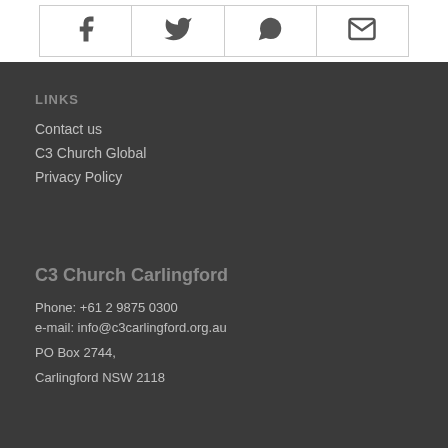[Figure (other): Row of four social media icon buttons (Facebook, Twitter, WhatsApp, Email) in a bordered table]
LINKS
Contact us
C3 Church Global
Privacy Policy
C3 Church Carlingford
Phone: +61 2 9875 0300
e-mail: info@c3carlingford.org.au
PO Box 2744,
Carlingford NSW 2118